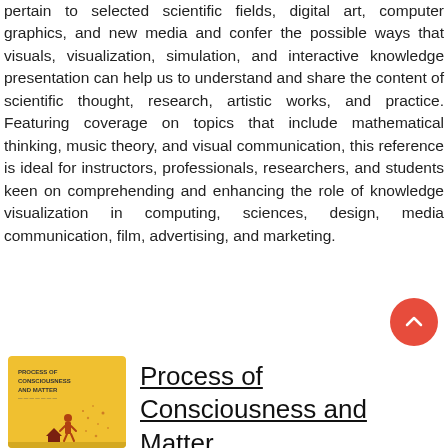pertain to selected scientific fields, digital art, computer graphics, and new media and confer the possible ways that visuals, visualization, simulation, and interactive knowledge presentation can help us to understand and share the content of scientific thought, research, artistic works, and practice. Featuring coverage on topics that include mathematical thinking, music theory, and visual communication, this reference is ideal for instructors, professionals, researchers, and students keen on comprehending and enhancing the role of knowledge visualization in computing, sciences, design, media communication, film, advertising, and marketing.
[Figure (illustration): Book cover thumbnail for 'Process of Consciousness and Matter' with yellow background and a silhouette figure]
Process of Consciousness and Matter